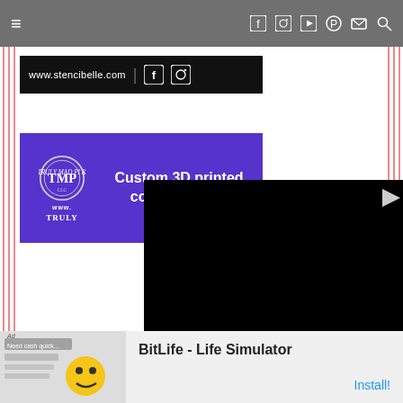[Figure (screenshot): Website navigation bar with hamburger menu on left, social media icons (Facebook, Instagram, YouTube, Pinterest, Mail, Search) on right, gray background]
[Figure (logo): Stencibelle website banner: black background with www.stencibelle.com text, vertical divider, Facebook and Instagram icons]
[Figure (advertisement): Purple ad banner for Truly Mad Pi LLC featuring TMP logo circle, text 'Custom 3D printed cookie cutters', and www URL with TRULY branding]
[Figure (screenshot): Black video player overlay with play button icon in top right corner]
[Figure (advertisement): Bottom ad banner: Ad label, BitLife - Life Simulator app advertisement with Install! button in blue]